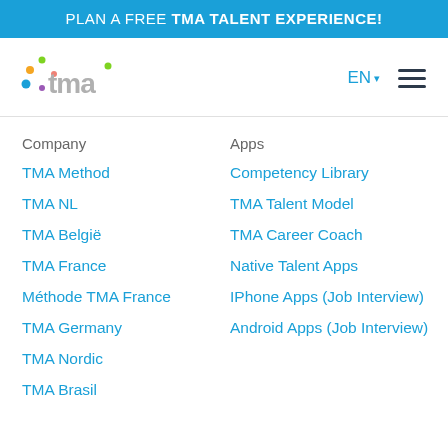PLAN A FREE TMA TALENT EXPERIENCE!
[Figure (logo): TMA logo with colorful dots and grey text]
EN
Company
TMA Method
TMA NL
TMA België
TMA France
Méthode TMA France
TMA Germany
TMA Nordic
TMA Brasil
Apps
Competency Library
TMA Talent Model
TMA Career Coach
Native Talent Apps
IPhone Apps (Job Interview)
Android Apps (Job Interview)